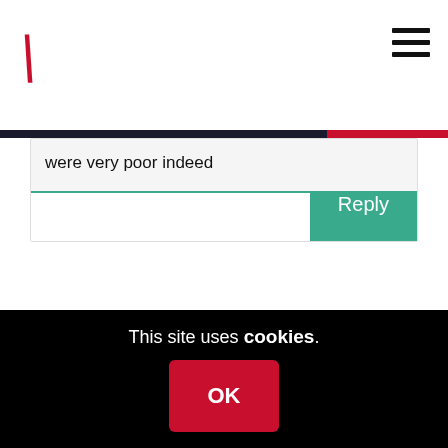[Figure (logo): Red backslash logo mark for a news/media website]
were very poor indeed
Reply
HELP KEEP OUR JOURNALISM
This site uses cookies.
OK